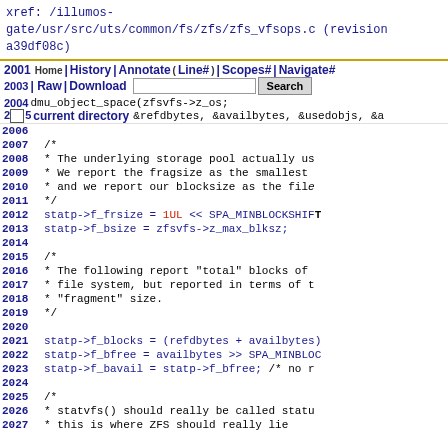xref: /illumos-gate/usr/src/uts/common/fs/zfs/zfs_vfsops.c (revision a39df08c)
Home | History | Annotate | Line# | Scopes# | Navigate# | Raw | Download  [search input] Search  current directory &refdbytes, &availbytes, &usedobjs, &a
2001 dmu_object_space(zfsvfs->z_os;
2002
2003
2004
2005 current directory &refdbytes, &availbytes, &usedobjs, &a
2006
2007 /*
2008 * The underlying storage pool actually us
2009 * We report the fragsize as the smallest
2010 * and we report our blocksize as the file
2011 */
2012 statp->f_frsize = 1UL << SPA_MINBLOCKSHIFT
2013 statp->f_bsize = zfsvfs->z_max_blksz;
2014
2015 /*
2016 * The following report "total" blocks of
2017 * file system, but reported in terms of t
2018 * "fragment" size.
2019 */
2020
2021 statp->f_blocks = (refdbytes + availbytes)
2022 statp->f_bfree = availbytes >> SPA_MINBLOC
2023 statp->f_bavail = statp->f_bfree; /* no r
2024
2025 /*
2026 * statvfs() should really be called statu
2027 * this is where ZFS should really lie